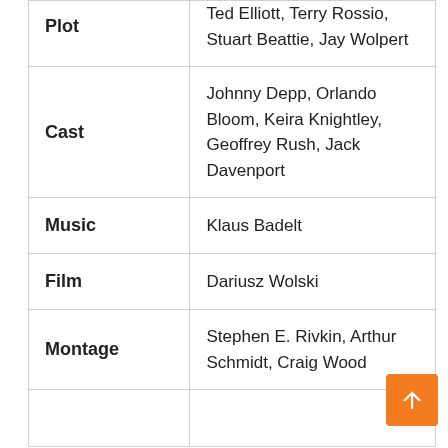| Field | Value |
| --- | --- |
| Plot | Ted Elliott, Terry Rossio, Stuart Beattie, Jay Wolpert |
| Cast | Johnny Depp, Orlando Bloom, Keira Knightley, Geoffrey Rush, Jack Davenport |
| Music | Klaus Badelt |
| Film | Dariusz Wolski |
| Montage | Stephen E. Rivkin, Arthur Schmidt, Craig Wood |